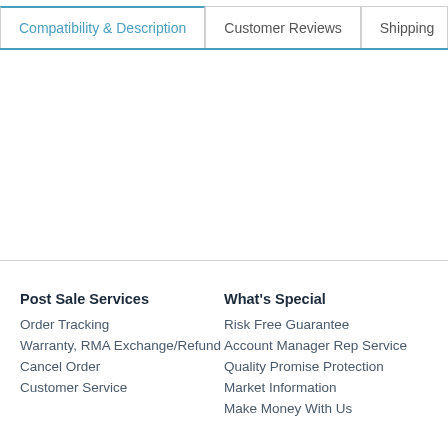Compatibility & Description
Customer Reviews
Shipping
Post Sale Services
Order Tracking
Warranty, RMA Exchange/Refund
Cancel Order
Customer Service
What's Special
Risk Free Guarantee
Account Manager Rep Service
Quality Promise Protection
Market Information
Make Money With Us